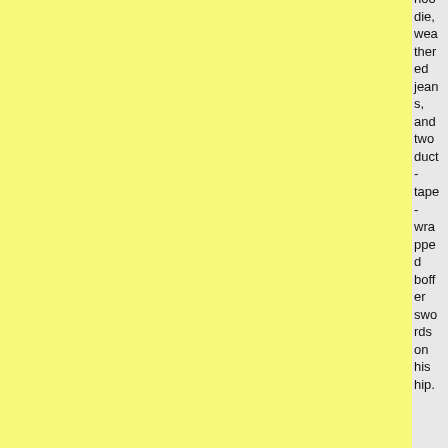hoodie, weathered jeans, and two duct-tape-wrapped bofferswords on his hip.